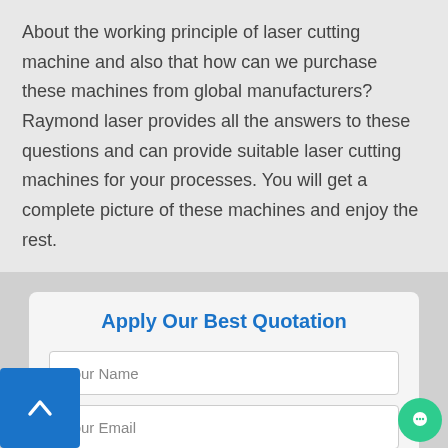About the working principle of laser cutting machine and also that how can we purchase these machines from global manufacturers? Raymond laser provides all the answers to these questions and can provide suitable laser cutting machines for your processes. You will get a complete picture of these machines and enjoy the rest.
Apply Our Best Quotation
Your Name
Your Email